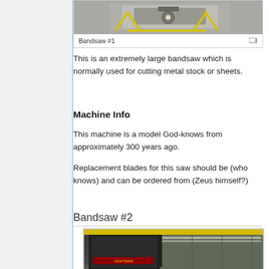[Figure (photo): Photo of Bandsaw #1 — a large industrial bandsaw viewed from above, with yellow safety markings on the floor around it.]
Bandsaw #1
This is an extremely large bandsaw which is normally used for cutting metal stock or sheets.
Machine Info
This machine is a model God-knows from approximately 300 years ago.
Replacement blades for this saw should be (who knows) and can be ordered from (Zeus himself?)
Bandsaw #2
[Figure (photo): Photo of Bandsaw #2 — a Craftsman brand bandsaw in a workshop, black metal body with yellow overhead beam, fluorescent ceiling lights visible.]